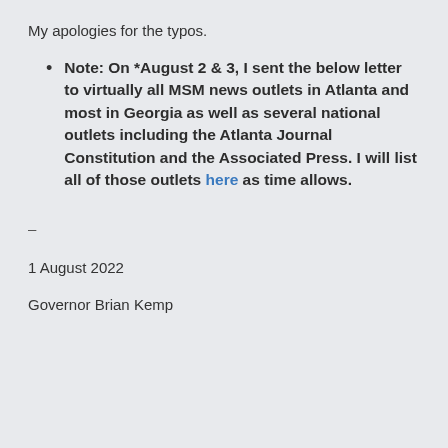My apologies for the typos.
Note: On *August 2 & 3, I sent the below letter to virtually all MSM news outlets in Atlanta and most in Georgia as well as several national outlets including the Atlanta Journal Constitution and the Associated Press. I will list all of those outlets here as time allows.
–
1 August 2022
Governor Brian Kemp